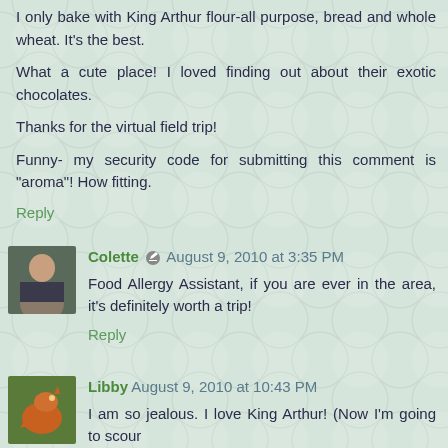I only bake with King Arthur flour-all purpose, bread and whole wheat. It's the best.
What a cute place! I loved finding out about their exotic chocolates.
Thanks for the virtual field trip!
Funny- my security code for submitting this comment is "aroma"! How fitting.
Reply
Colette August 9, 2010 at 3:35 PM
Food Allergy Assistant, if you are ever in the area, it's definitely worth a trip!
Reply
Libby August 9, 2010 at 10:43 PM
I am so jealous. I love King Arthur! (Now I'm going to scour